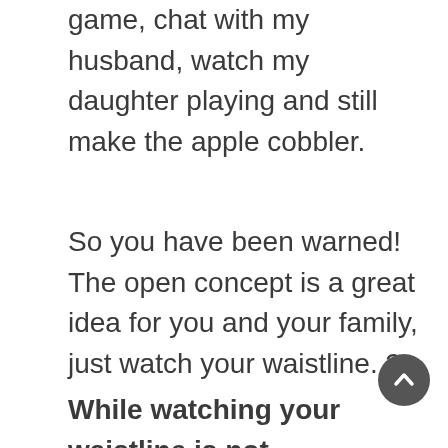game, chat with my husband, watch my daughter playing and still make the apple cobbler.
So you have been warned!  The open concept is a great idea for you and your family, just watch your waistline. ?
While watching your waistline is not something I can help you with, figuring out the floor plan that is best for you and your family is. Give us a call today to get started on your dream kitchen.